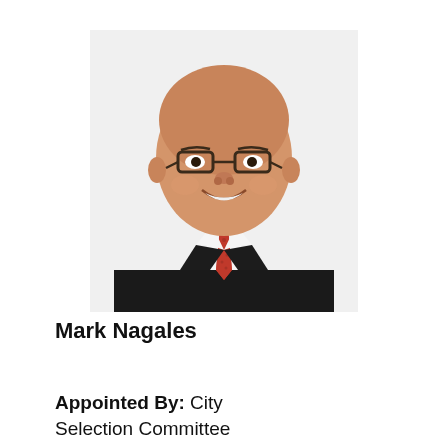[Figure (photo): Professional headshot of Mark Nagales, a bald Asian man wearing dark-framed glasses, a black suit jacket, white dress shirt, and red patterned tie, smiling against a white background.]
Mark Nagales
Appointed By: City Selection Committee